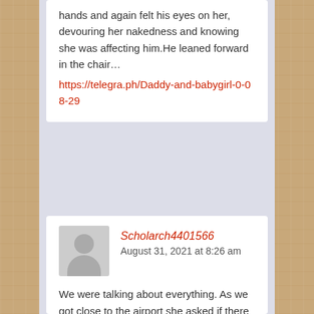hands and again felt his eyes on her, devouring her nakedness and knowing she was affecting him.He leaned forward in the chair…
https://telegra.ph/Daddy-and-babygirl-0-08-29
Scholarch4401566
August 31, 2021 at 8:26 am
We were talking about everything. As we got close to the airport she asked if there was a private place to park. I pulled into the extended parking garage knowing I would not be charge if I left within an hour. And that there was usually privacy in the far back corner. I pulled into a spot and my little girl got out and said, “Daddy, I want you naked in this seat,” She pointed to where she was just seating. Quickly I slid towards her pulling my shorts down around my ankles. She was completely naked in a second. My little girl climbed on top of me lowering herself